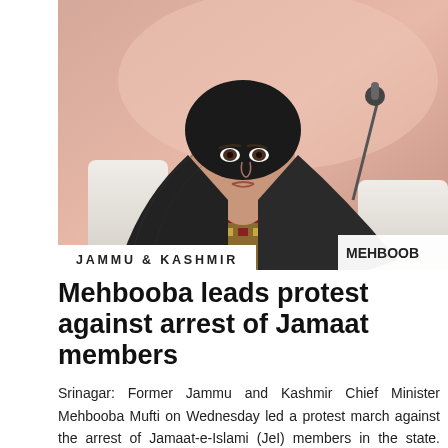[Figure (photo): A woman wearing a black hijab and embroidered traditional attire seated at what appears to be a conference or panel event, with a microphone visible to the right. A nameplate partially reads 'MEHBOOB'.]
JAMMU & KASHMIR
Mehbooba leads protest against arrest of Jamaat members
Srinagar: Former Jammu and Kashmir Chief Minister Mehbooba Mufti on Wednesday led a protest march against the arrest of Jamaat-e-Islami (JeI) members in the state. Mufti led the march of her party leaders and workers in Anantnag town. “The arrest of members of Jamaat Moulvis and Imams affiliated with Ahle [Read More...]